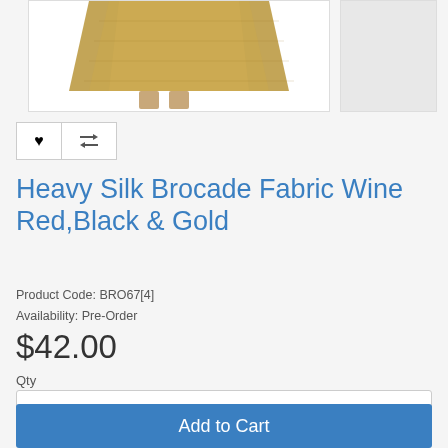[Figure (photo): Product photo showing a gold/bronze brocade fabric skirt on a model, cropped to show the skirt portion. A thumbnail image placeholder is shown to the right.]
Heavy Silk Brocade Fabric Wine Red,Black & Gold
Product Code: BRO67[4]
Availability: Pre-Order
$42.00
Qty
1
Add to Cart